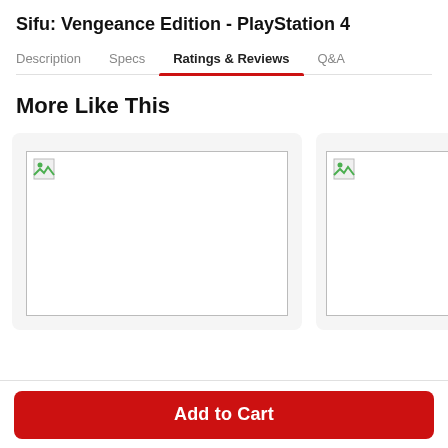Sifu: Vengeance Edition - PlayStation 4
Description | Specs | Ratings & Reviews | Q&A
More Like This
[Figure (photo): Product image placeholder (broken image icon) for first product card]
[Figure (photo): Product image placeholder (broken image icon) for second product card]
Add to Cart